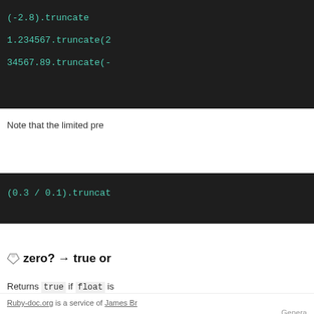[Figure (screenshot): Dark code block showing (-2.8).truncate (partially visible)]
[Figure (screenshot): Dark code block showing 1.234567.truncate(2 (partially visible)]
[Figure (screenshot): Dark code block showing 34567.89.truncate(- (partially visible)]
Note that the limited pre
[Figure (screenshot): Dark code block showing (0.3 / 0.1).truncat (partially visible)]
zero? → true or false
Returns true if float is
Ruby-doc.org is a service of James Br
Genera